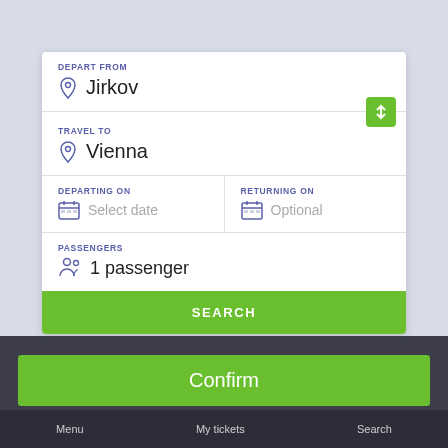DEPART FROM
Jirkov
TRAVEL TO
Vienna
DEPARTING ON
Select date
RETURNING ON
Optional
PASSENGERS
1 passenger
SEARCH
This website uses cookies. Click here to change Cookie preferences. If that's okay with you, click Confirm.
Confirm
Menu   My tickets   Search